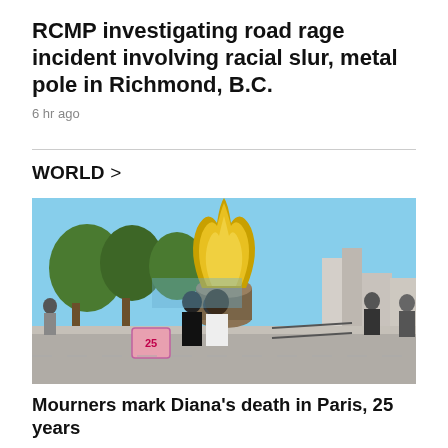RCMP investigating road rage incident involving racial slur, metal pole in Richmond, B.C.
6 hr ago
WORLD >
[Figure (photo): People standing near a large golden flame sculpture in Paris, with trees and buildings in the background. A heart-shaped '25' memorial sign is visible near the base.]
Mourners mark Diana's death in Paris, 25 years